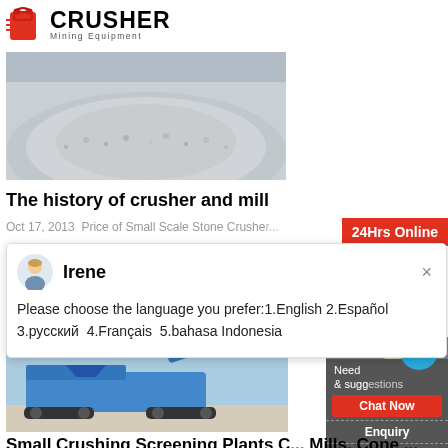[Figure (logo): Crusher Mining Equipment logo with red shopping bag icon and bold CRUSHER text]
[Figure (photo): Pile of crushed gravel/stone aggregate]
The history of crusher and mill
Oct 17, 2013  Price of Small Scale Stone Crushe...
[Figure (infographic): 24Hrs Online red badge popup with Irene avatar chat window. Message: Please choose the language you prefer:1.English 2.Español 3.русский 4.Français 5.bahasa Indonesia]
[Figure (photo): Small mobile crushing and screening plant machine on site]
[Figure (infographic): Right sidebar with Need & suggestions text, Chat Now red button, notification badge with 1, Enquiry section, limingjlmofen@sina.com contact]
Small Crushing Screening Plants C... Mills, Cone ...